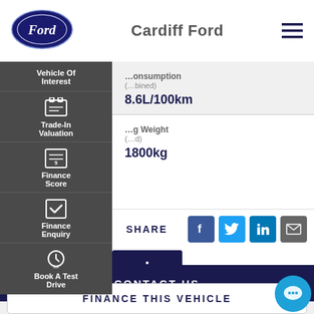[Figure (logo): Ford oval logo, dark navy blue]
Cardiff Ford
[Figure (infographic): Hamburger menu icon (three horizontal lines)]
[Figure (infographic): Side navigation panel with dark gray background containing: Vehicle Of Interest, Trade-In Valuation, Finance Score, Finance Enquiry, Book A Test Drive]
| Specification | Value |
| --- | --- |
| Fuel Consumption (combined) | 8.6L/100km |
| Towing Weight (loaded) | 1800kg |
SHARE
[Figure (infographic): Social share icons: Facebook (blue), Twitter (light blue), LinkedIn (blue), Email (gray)]
CONTACT US
Back To Results
FINANCE THIS VEHICLE